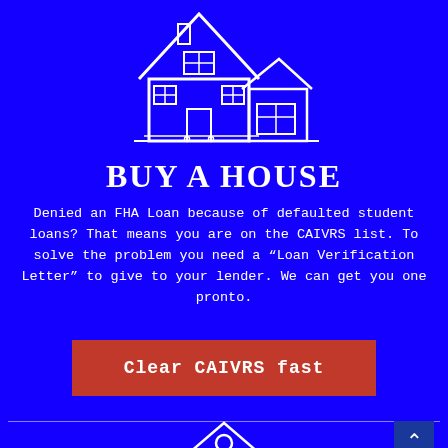[Figure (illustration): White line-art icon of a house with chimney and attached garage on blue background]
BUY A HOUSE
Denied an FHA Loan because of defaulted student loans? That means you are on the CAIVRS list. To solve the problem you need a "Loan Verification Letter" to give to your lender. We can get you one pronto.
[Figure (other): Red call-to-action button labeled 'Clear CAIVRS fast']